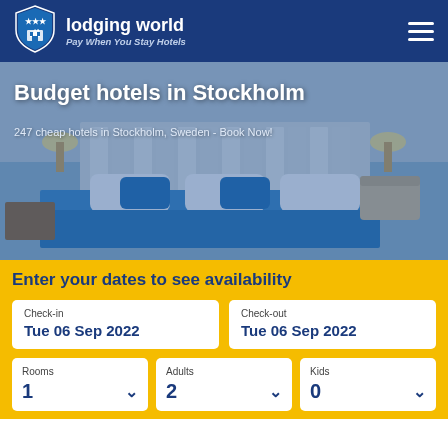[Figure (logo): Lodging World logo — shield icon with building silhouette and stars on dark blue background]
lodging world — Pay When You Stay Hotels
Budget hotels in Stockholm
247 cheap hotels in Stockholm, Sweden - Book Now!
[Figure (photo): Hotel room with a large bed with blue pillows and blue blanket, white headboard with vertical panels, bedside lamps, and a chair in a softly lit room. Blue color overlay.]
Enter your dates to see availability
| Check-in | Check-out |
| --- | --- |
| Tue 06 Sep 2022 | Tue 06 Sep 2022 |
| Rooms | Adults | Kids |
| --- | --- | --- |
| 1 | 2 | 0 |